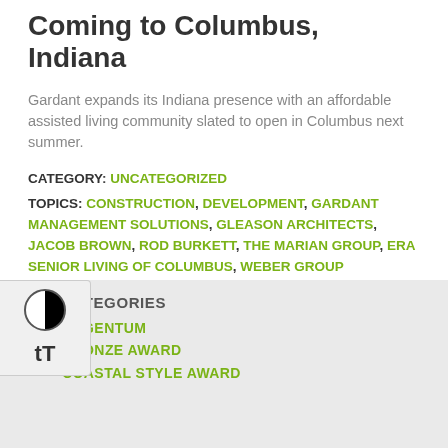Coming to Columbus, Indiana
Gardant expands its Indiana presence with an affordable assisted living community slated to open in Columbus next summer.
CATEGORY: UNCATEGORIZED
TOPICS: CONSTRUCTION, DEVELOPMENT, GARDANT MANAGEMENT SOLUTIONS, GLEASON ARCHITECTS, JACOB BROWN, ROD BURKETT, THE MARIAN GROUP, ERA SENIOR LIVING OF COLUMBUS, WEBER GROUP
0 COMMENTS
CATEGORIES
ARGENTUM
BRONZE AWARD
COASTAL STYLE AWARD